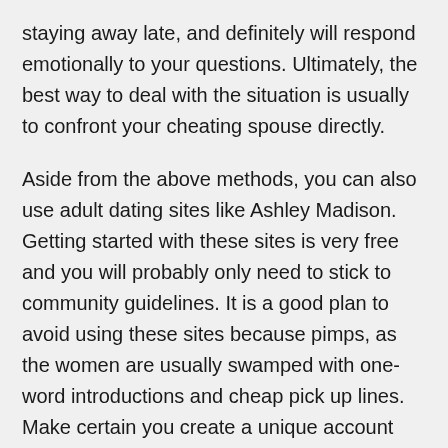staying away late, and definitely will respond emotionally to your questions. Ultimately, the best way to deal with the situation is usually to confront your cheating spouse directly.
Aside from the above methods, you can also use adult dating sites like Ashley Madison. Getting started with these sites is very free and you will probably only need to stick to community guidelines. It is a good plan to avoid using these sites because pimps, as the women are usually swamped with one-word introductions and cheap pick up lines. Make certain you create a unique account with a wonderful photo. If you discover the right account, you can connect with someone for the purpose of extramarital entertaining.
Some men have an affair on a dating internet site. If you're having difficulty finding anyone to cheat about, you